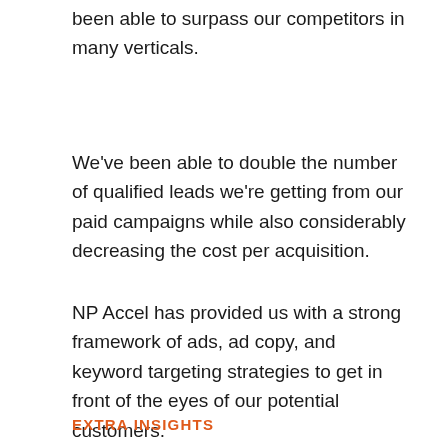been able to surpass our competitors in many verticals.
We've been able to double the number of qualified leads we're getting from our paid campaigns while also considerably decreasing the cost per acquisition.
NP Accel has provided us with a strong framework of ads, ad copy, and keyword targeting strategies to get in front of the eyes of our potential customers.
EXTRA INSIGHTS